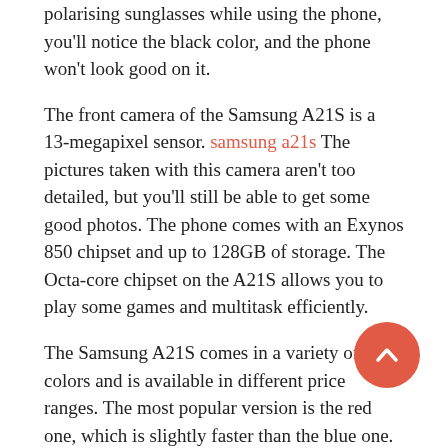polarising sunglasses while using the phone, you'll notice the black color, and the phone won't look good on it.
The front camera of the Samsung A21S is a 13-megapixel sensor. samsung a21s The pictures taken with this camera aren't too detailed, but you'll still be able to get some good photos. The phone comes with an Exynos 850 chipset and up to 128GB of storage. The Octa-core chipset on the A21S allows you to play some games and multitask efficiently.
The Samsung A21S comes in a variety of colors and is available in different price ranges. The most popular version is the red one, which is slightly faster than the blue one. You can also find the A21s in white, grey, and black. Whether you prefer a glossy finish or a matte finish, the A21s has a rounded design and minimal screen bezels. Its camera is equipped with Live Focus technology.
While the Galaxy A21S isn't perfect for everyone, it is